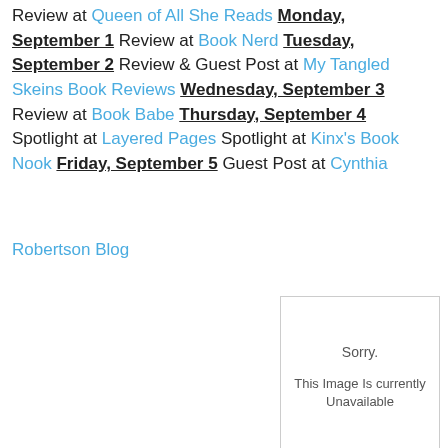Review at Queen of All She Reads Monday, September 1 Review at Book Nerd Tuesday, September 2 Review & Guest Post at My Tangled Skeins Book Reviews Wednesday, September 3 Review at Book Babe Thursday, September 4 Spotlight at Layered Pages Spotlight at Kinx's Book Nook Friday, September 5 Guest Post at Cynthia Robertson Blog
[Figure (other): Photobucket placeholder image showing 'Sorry. This Image Is Currently Unavailable']
Meg @ A Bookish Affair at 12:00 AM
Share
1 comment:
Martin, August 30, 2014 at 10:41 AM